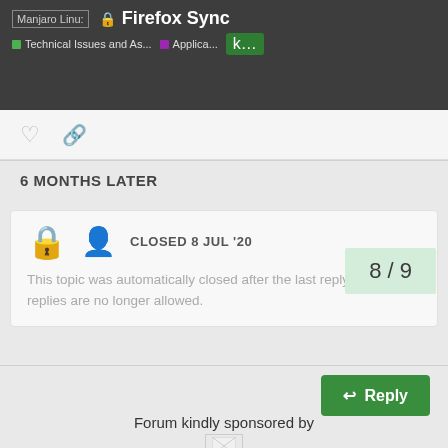Firefox Sync — Technical Issues and As... | Applica... | k...
6 MONTHS LATER
CLOSED 8 JUL '20
This topic was automatically closed after the last reply. New replies are no longer allowed.
8 / 9
Reply
Forum kindly sponsored by